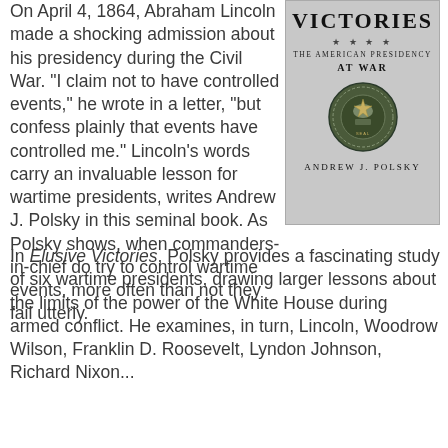On April 4, 1864, Abraham Lincoln made a shocking admission about his presidency during the Civil War. "I claim not to have controlled events," he wrote in a letter, "but confess plainly that events have controlled me." Lincoln's words carry an invaluable lesson for wartime presidents, writes Andrew J. Polsky in this seminal book. As Polsky shows, when commanders-in-chief do try to control wartime events, more often than not they fail utterly.
[Figure (illustration): Book cover of 'Elusive Victories: The American Presidency at War' by Andrew J. Polsky, showing the Presidential seal on a gray background]
In Elusive Victories, Polsky provides a fascinating study of six wartime presidents, drawing larger lessons about the limits of the power of the White House during armed conflict. He examines, in turn, Lincoln, Woodrow Wilson, Franklin D. Roosevelt, Lyndon Johnson, Richard Nixon...